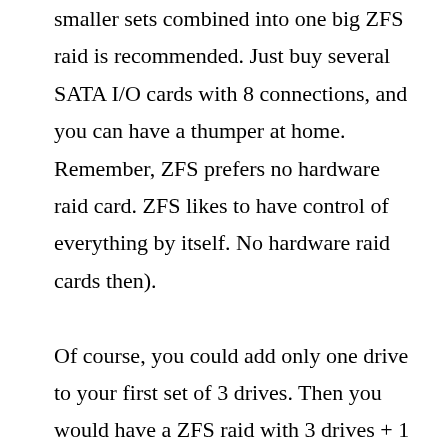smaller sets combined into one big ZFS raid is recommended. Just buy several SATA I/O cards with 8 connections, and you can have a thumper at home. Remember, ZFS prefers no hardware raid card. ZFS likes to have control of everything by itself. No hardware raid cards then).

Of course, you could add only one drive to your first set of 3 drives. Then you would have a ZFS raid with 3 drives + 1 drive. This would be bad, because what happens if that 1 drive fails? In the set of 3 drives, one drive can fail because that set has redundancy. But the second set has no redundancy. Therefore, add a group of drives to an